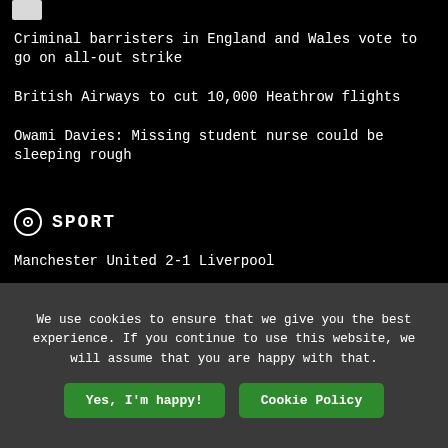Criminal barristers in England and Wales vote to go on all-out strike
British Airways to cut 10,000 Heathrow flights
Owami Davies: Missing student nurse could be sleeping rough
SPORT
Manchester United 2-1 Liverpool
Ellen White: How England's record scorer will be remembered
We use cookies to ensure that we give you the best experience. If you continue to use this website, we will assume that you are happy with that.